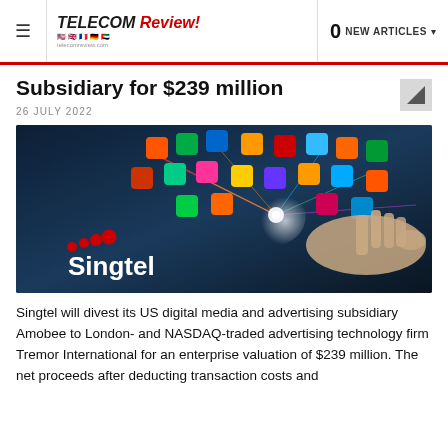TELECOM Review | 0 NEW ARTICLES
Subsidiary for $239 million
26 JULY 2022
[Figure (photo): Singtel branded image showing a hand touching a digital tablet surface with colorful app icons and glowing light connections against a dark blue background. Singtel logo with red dots visible in lower left.]
Singtel will divest its US digital media and advertising subsidiary Amobee to London- and NASDAQ-traded advertising technology firm Tremor International for an enterprise valuation of $239 million. The net proceeds after deducting transaction costs and